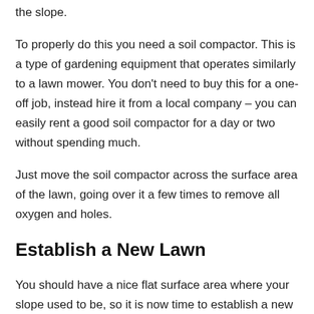the slope.
To properly do this you need a soil compactor. This is a type of gardening equipment that operates similarly to a lawn mower. You don't need to buy this for a one-off job, instead hire it from a local company – you can easily rent a good soil compactor for a day or two without spending much.
Just move the soil compactor across the surface area of the lawn, going over it a few times to remove all oxygen and holes.
Establish a New Lawn
You should have a nice flat surface area where your slope used to be, so it is now time to establish a new lawn! Simply add grass seeds or turn to the top of the soil, following the appropriate instructions depending on what method you use.